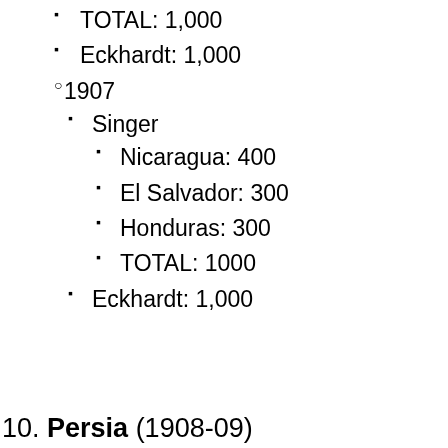TOTAL: 1,000
Eckhardt: 1,000
1907
Singer
Nicaragua: 400
El Salvador: 300
Honduras: 300
TOTAL: 1000
Eckhardt: 1,000
10. Persia (1908-09)